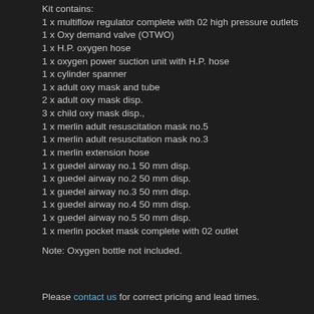Kit contains:
1 x multiflow regulator complete with 02 high pressure outlets
1 x Oxy demand valve (OTWO)
1 x H.P. oxygen hose
1 x oxygen power suction unit with H.P. hose
1 x cylinder spanner
1 x adult oxy mask and tube
2 x adult oxy mask disp.
3 x child oxy mask disp.,
1 x merlin adult resuscitation mask no.5
1 x merlin adult resuscitation mask no.3
1 x merlin extension hose
1 x guedel airway no.1 50 mm disp.
1 x guedel airway no.2 50 mm disp.
1 x guedel airway no.3 50 mm disp.
1 x guedel airway no.4 50 mm disp.
1 x guedel airway no.5 50 mm disp.
1 x merlin pocket mask complete with 02 outlet
Note: Oxygen bottle not included.
Please contact us for correct pricing and lead times.